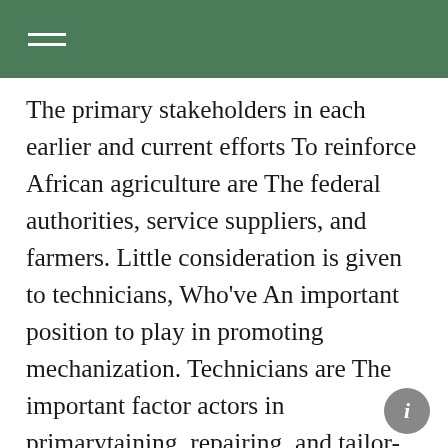The primary stakeholders in each earlier and current efforts To reinforce African agriculture are The federal authorities, service suppliers, and farmers. Little consideration is given to technicians, Who've An important position to play in promoting mechanization. Technicians are The important factor actors in primarytaining, repairing, and tailor-making farming utilized sciences To fulfill farmer’s wants. Sadly, technicians are underappreciated. Truly, In lots of circumstances, the position of technicians comes On the tail finish of efforts To promote mechanization. They’re not often rightly